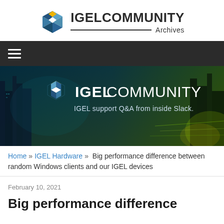[Figure (logo): IGEL Community Archives logo with hexagonal icon in blue/yellow/white and bold text]
[Figure (screenshot): Dark navigation bar with hamburger menu icon on black background]
[Figure (photo): IGEL Community banner image showing city skyline at night with IGEL Community logo and tagline 'IGEL support Q&A from inside Slack.']
Home » IGEL Hardware » Big performance difference between random Windows clients and our IGEL devices
February 10, 2021
Big performance difference